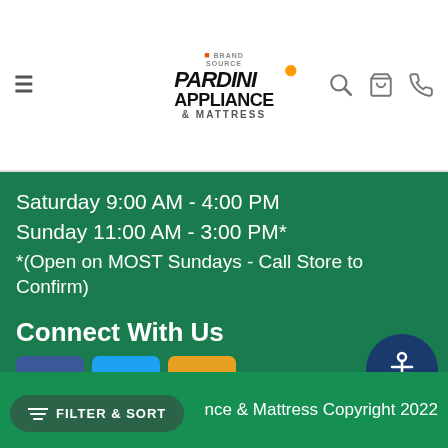[Figure (logo): Pardini Appliance & Mattress logo with BrandSource badge and orange sunburst graphic]
Saturday 9:00 AM - 4:00 PM
Sunday 11:00 AM - 3:00 PM*
*(Open on MOST Sundays - Call Store to Confirm)
Connect With Us
[Figure (illustration): Social media icons: Facebook (blue square with F), Twitter (light blue square with bird), Blog (orange speech bubble with BLOG text), and accessibility icon (navy circle with person/wheelchair symbol)]
nce & Mattress Copyright 2022
FILTER & SORT